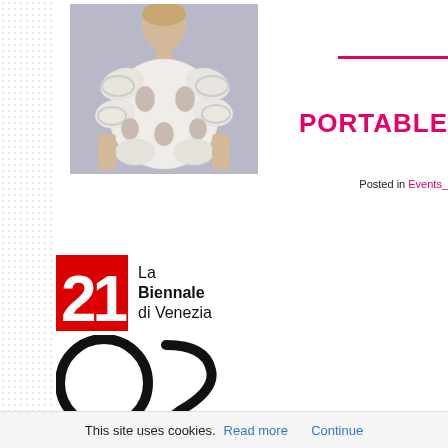[Figure (photo): Fashion photo of a model wearing a sculptural white 3D-printed garment shaped like swirling shells or coral forms, against a light background]
PORTABLE
Posted in Events_
[Figure (logo): La Biennale di Venezia 2021 logo with red '21' numeral block and text 'La Biennale di Venezia', followed by large '20' and partial '2' below]
This site uses cookies. Read more Continue